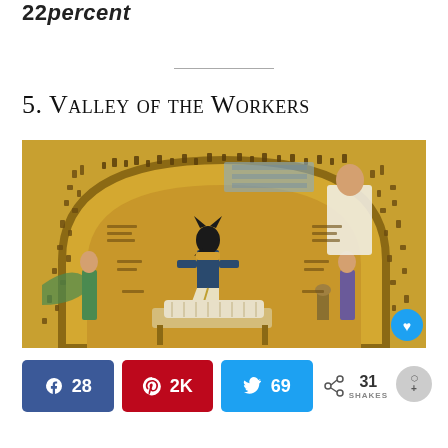22 percent
5. Valley of the Workers
[Figure (photo): Ancient Egyptian tomb painting showing Anubis (jackal-headed god) attending to a mummified figure on a funeral bier, surrounded by hieroglyphics in an arched golden composition.]
28  2K  69  31 SHAkEs